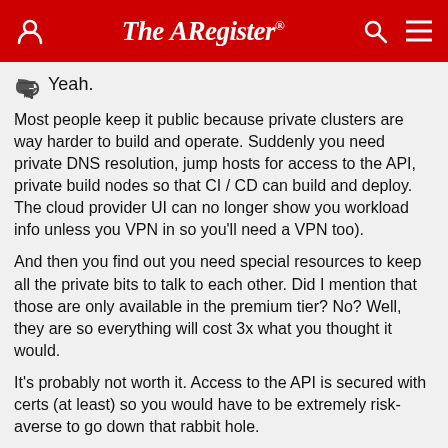The Register
Yeah.
Most people keep it public because private clusters are way harder to build and operate. Suddenly you need private DNS resolution, jump hosts for access to the API, private build nodes so that CI / CD can build and deploy. The cloud provider UI can no longer show you workload info unless you VPN in so you'll need a VPN too).
And then you find out you need special resources to keep all the private bits to talk to each other. Did I mention that those are only available in the premium tier? No? Well, they are so everything will cost 3x what you thought it would.
It's probably not worth it. Access to the API is secured with certs (at least) so you would have to be extremely risk-averse to go down that rabbit hole.